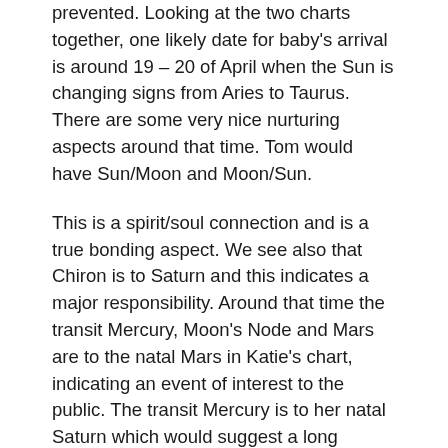prevented. Looking at the two charts together, one likely date for baby's arrival is around 19 – 20 of April when the Sun is changing signs from Aries to Taurus. There are some very nice nurturing aspects around that time. Tom would have Sun/Moon and Moon/Sun.
This is a spirit/soul connection and is a true bonding aspect. We see also that Chiron is to Saturn and this indicates a major responsibility. Around that time the transit Mercury, Moon's Node and Mars are to the natal Mars in Katie's chart, indicating an event of interest to the public. The transit Mercury is to her natal Saturn which would suggest a long labour. So; whilst it is their intention to have a home birth, they are wise to have the hospital on standby if need be.
Essential to a new mother is to have a nurturing role as well and this shows up with the transiting Jupiter settling very close to Katie's Moon/Venus aspect in the